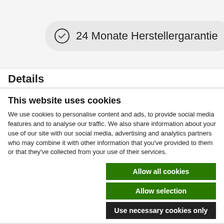24 Monate Herstellergarantie
Details
This website uses cookies
We use cookies to personalise content and ads, to provide social media features and to analyse our traffic. We also share information about your use of our site with our social media, advertising and analytics partners who may combine it with other information that you've provided to them or that they've collected from your use of their services.
Allow all cookies
Allow selection
Use necessary cookies only
Necessary   Preferences   Statistics   Marketing   Show details